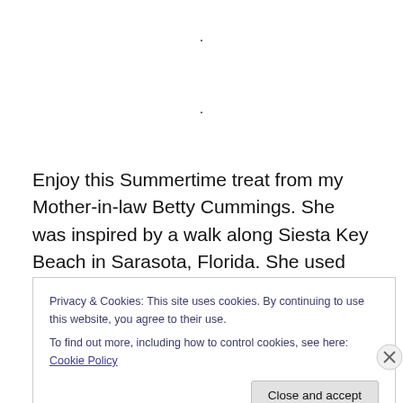.
.
Enjoy this Summertime treat from my Mother-in-law Betty Cummings.  She was inspired by a walk along Siesta Key Beach in Sarasota, Florida.  She used bright colors in her oils to achieve this tropical look.  I am so fortunate to own some of her original work.  And now everyone can enjoy prints too!
Privacy & Cookies: This site uses cookies. By continuing to use this website, you agree to their use.
To find out more, including how to control cookies, see here: Cookie Policy
Close and accept